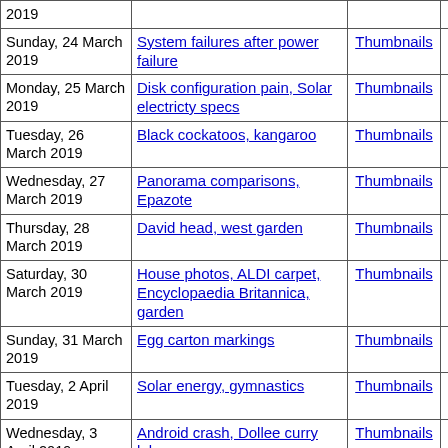| Date | Topic | Thumbnails | Small photos | dia |
| --- | --- | --- | --- | --- |
| 2019 |  |  | photos |  |
| Sunday, 24 March 2019 | System failures after power failure | Thumbnails | Small photos | dia |
| Monday, 25 March 2019 | Disk configuration pain, Solar electricty specs | Thumbnails | Small photos | dia |
| Tuesday, 26 March 2019 | Black cockatoos, kangaroo | Thumbnails | Small photos | dia |
| Wednesday, 27 March 2019 | Panorama comparisons, Epazote | Thumbnails | Small photos | dia |
| Thursday, 28 March 2019 | David head, west garden | Thumbnails | Small photos | dia |
| Saturday, 30 March 2019 | House photos, ALDI carpet, Encyclopaedia Britannica, garden | Thumbnails | Small photos | dia |
| Sunday, 31 March 2019 | Egg carton markings | Thumbnails | Small photos | dia |
| Tuesday, 2 April 2019 | Solar energy, gymnastics | Thumbnails | Small photos | dia |
| Wednesday, 3 April 2019 | Android crash, Dollee curry laksa | Thumbnails | Small photos | dia |